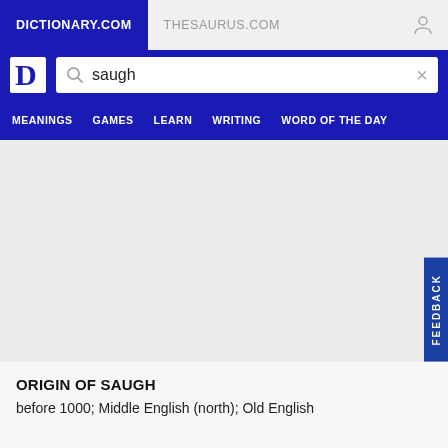DICTIONARY.COM | THESAURUS.COM
[Figure (screenshot): Dictionary.com logo — white letter D on dark blue background]
saugh
MEANINGS  GAMES  LEARN  WRITING  WORD OF THE DAY
ORIGIN OF SAUGH
before 1000; Middle English (north); Old English